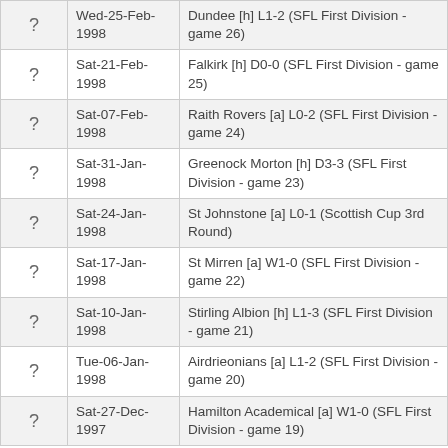|  | Date | Match |
| --- | --- | --- |
| ? | Wed-25-Feb-1998 | Dundee [h] L1-2 (SFL First Division - game 26) |
| ? | Sat-21-Feb-1998 | Falkirk [h] D0-0 (SFL First Division - game 25) |
| ? | Sat-07-Feb-1998 | Raith Rovers [a] L0-2 (SFL First Division - game 24) |
| ? | Sat-31-Jan-1998 | Greenock Morton [h] D3-3 (SFL First Division - game 23) |
| ? | Sat-24-Jan-1998 | St Johnstone [a] L0-1 (Scottish Cup 3rd Round) |
| ? | Sat-17-Jan-1998 | St Mirren [a] W1-0 (SFL First Division - game 22) |
| ? | Sat-10-Jan-1998 | Stirling Albion [h] L1-3 (SFL First Division - game 21) |
| ? | Tue-06-Jan-1998 | Airdrieonians [a] L1-2 (SFL First Division - game 20) |
| ? | Sat-27-Dec-1997 | Hamilton Academical [a] W1-0 (SFL First Division - game 19) |